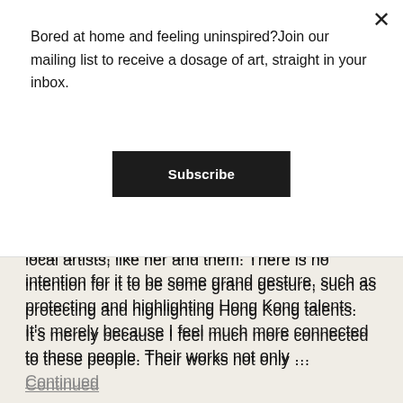Bored at home and feeling uninspired?Join our mailing list to receive a dosage of art, straight in your inbox.
Subscribe
starveron, but we also strive to shine a light on local artists, like her and them. There is no intention for it to be some grand gesture, such as protecting and highlighting Hong Kong talents. It’s merely because I feel much more connected to these people. Their works not only … Continued
[Figure (photo): A person wearing a grey beanie hat standing outdoors against a dusk/sunset sky with dark rocky silhouette hills in the background.]